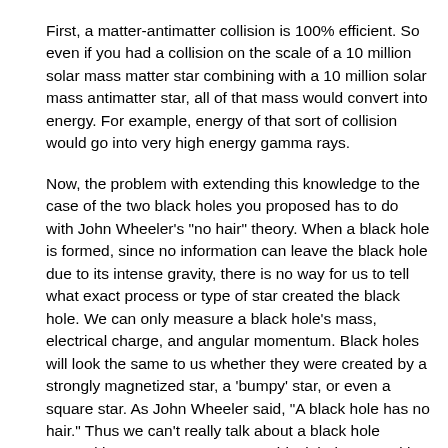First, a matter-antimatter collision is 100% efficient. So even if you had a collision on the scale of a 10 million solar mass matter star combining with a 10 million solar mass antimatter star, all of that mass would convert into energy. For example, energy of that sort of collision would go into very high energy gamma rays.
Now, the problem with extending this knowledge to the case of the two black holes you proposed has to do with John Wheeler's "no hair" theory. When a black hole is formed, since no information can leave the black hole due to its intense gravity, there is no way for us to tell what exact process or type of star created the black hole. We can only measure a black hole's mass, electrical charge, and angular momentum. Black holes will look the same to us whether they were created by a strongly magnetized star, a 'bumpy' star, or even a square star. As John Wheeler said, "A black hole has no hair." Thus we can't really talk about a black hole created by a matter star versus a black hole created by an antimatter star, let alone what would happen if they were to collide.
To find out more about black holes, I would recommend Kip Thorne's 'Black Holes and Time Warps: Einstein's Outrageous Legacy.' The